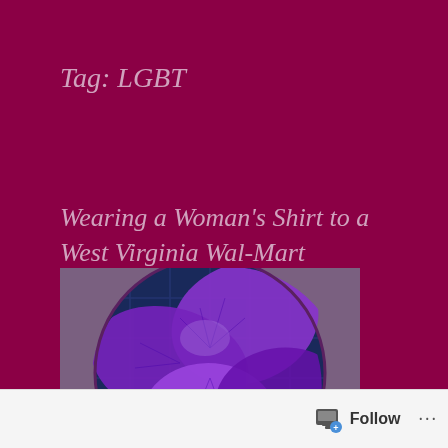Tag: LGBT
Wearing a Woman's Shirt to a West Virginia Wal-Mart
[Figure (photo): Close-up photograph of a large purple/violet orchid flower with intricate vein details, displayed inside a circular frame against a dark blue-purple background with grid pattern.]
Follow ...